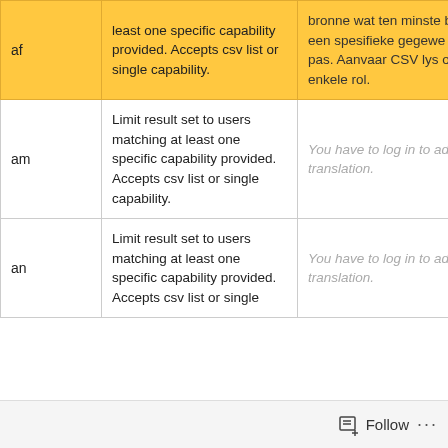| Key | Description | Translation | Link |
| --- | --- | --- | --- |
| af | least one specific capability provided. Accepts csv list or single capability. | bronne wat ten minste by een spesifieke gegewe rol pas. Aanvaar CSV lys of enkele rol. | Details |
| am | Limit result set to users matching at least one specific capability provided. Accepts csv list or single capability. | You have to log in to add a translation. | Details |
| an | Limit result set to users matching at least one specific capability provided. Accepts csv list or single | You have to log in to add a translation. | Details |